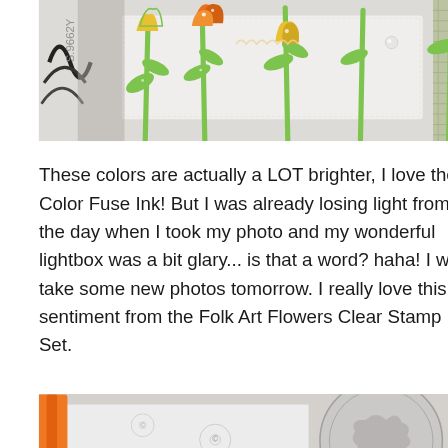[Figure (photo): Close-up photo of colorful paper craft / card making project showing green stems and leaves with orange and yellow tulip-like flowers against a light grey/white background, with decorative elements. Black swirl visible on left edge.]
These colors are actually a LOT brighter, I love the Color Fuse Ink! But I was already losing light from the day when I took my photo and my wonderful lightbox was a bit glary... is that a word? haha! I will take some new photos tomorrow. I really love this sentiment from the Folk Art Flowers Clear Stamp Set.
[Figure (photo): Close-up photo of a clear rubber stamp set / crafting materials with a circular stamp showing 'CRISTENA BAGNE FOR' text visible, along with orange marker cap and green-striped paper elements.]